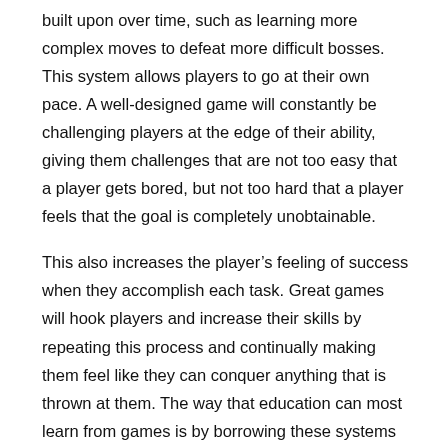built upon over time, such as learning more complex moves to defeat more difficult bosses. This system allows players to go at their own pace. A well-designed game will constantly be challenging players at the edge of their ability, giving them challenges that are not too easy that a player gets bored, but not too hard that a player feels that the goal is completely unobtainable.
This also increases the player's feeling of success when they accomplish each task. Great games will hook players and increase their skills by repeating this process and continually making them feel like they can conquer anything that is thrown at them. The way that education can most learn from games is by borrowing these systems of mastery-based progression and additive point earning.
Every student learns different concepts at different speeds, and, ideally, students should be able to learn at their own pace. In many classrooms today, due to standardized testing and other outside